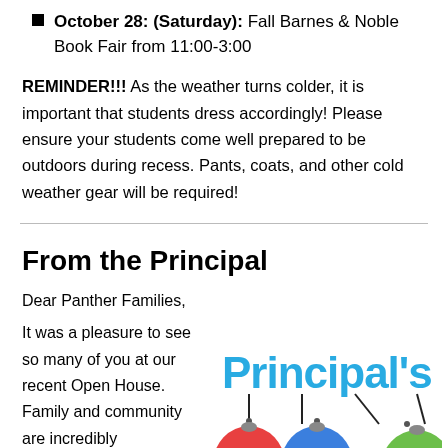October 28: (Saturday): Fall Barnes & Noble Book Fair from 11:00-3:00
REMINDER!!! As the weather turns colder, it is important that students dress accordingly! Please ensure your students come well prepared to be outdoors during recess. Pants, coats, and other cold weather gear will be required!
From the Principal
Dear Panther Families,
It was a pleasure to see so many of you at our recent Open House. Family and community are incredibly
[Figure (illustration): Colorful graphic with the text "Principal's" in large blue letters, hanging decorative ornament-shaped tags in red, blue, and green with partial letters N and E visible.]